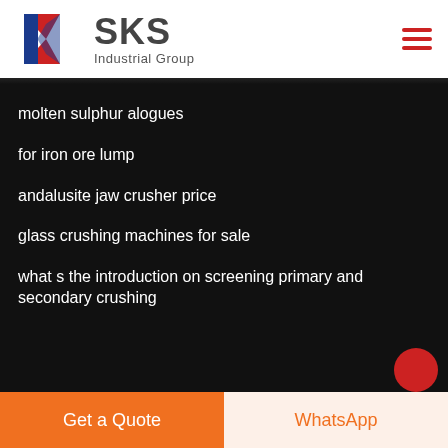[Figure (logo): SKS Industrial Group logo with a stylized K in red and blue]
molten sulphur alogues
for iron ore lump
andalusite jaw crusher price
glass crushing machines for sale
what s the introduction on screening primary and secondary crushing
Get a Quote
WhatsApp